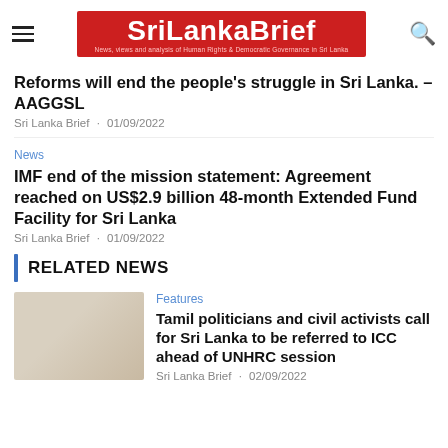SriLankaBrief — News, views and analysis of Human Rights & Democratic Governance in Sri Lanka
Reforms will end the people's struggle in Sri Lanka. – AAGGSL
Sri Lanka Brief · 01/09/2022
News
IMF end of the mission statement: Agreement reached on US$2.9 billion 48-month Extended Fund Facility for Sri Lanka
Sri Lanka Brief · 01/09/2022
RELATED NEWS
Features
[Figure (photo): Thumbnail photo related to Tamil politicians and civil activists article]
Tamil politicians and civil activists call for Sri Lanka to be referred to ICC ahead of UNHRC session
Sri Lanka Brief · 02/09/2022